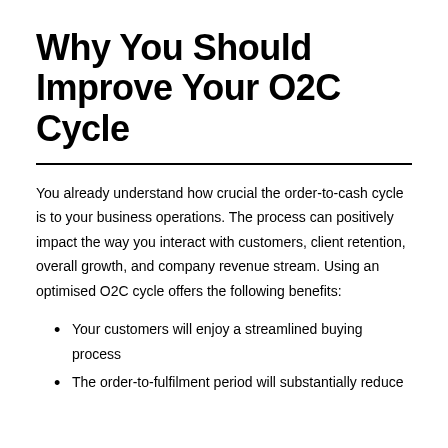Why You Should Improve Your O2C Cycle
You already understand how crucial the order-to-cash cycle is to your business operations. The process can positively impact the way you interact with customers, client retention, overall growth, and company revenue stream. Using an optimised O2C cycle offers the following benefits:
Your customers will enjoy a streamlined buying process
The order-to-fulfilment period will substantially reduce